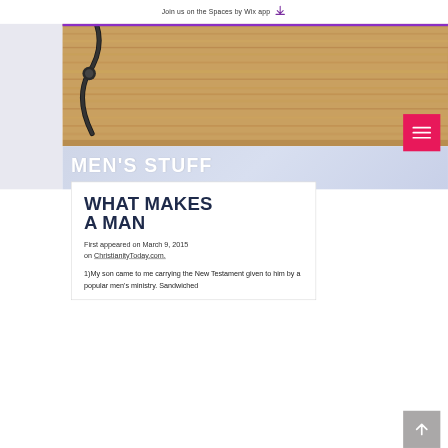Join us on the Spaces by Wix app
MEN'S STUFF
WHAT MAKES A MAN
First appeared on March 9, 2015 on ChristianityToday.com.
1)My son came to me carrying the New Testament given to him by a popular men's ministry. Sandwiched